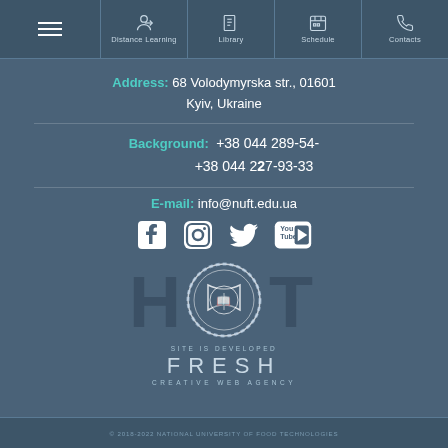Distance Learning | Library | Schedule | Contacts
Address: 68 Volodymyrska str., 01601 Kyiv, Ukraine
Background: +38 044 289-54- +38 044 227-93-33
E-mail: info@nuft.edu.ua
[Figure (infographic): Social media icons: Facebook, Instagram, Twitter, YouTube]
[Figure (logo): NUFT university logo emblem with text NUFT watermark and circular seal]
SITE IS DEVELOPED FRESH CREATIVE WEB AGENCY
© 2018-2022 NATIONAL UNIVERSITY OF FOOD TECHNOLOGIES